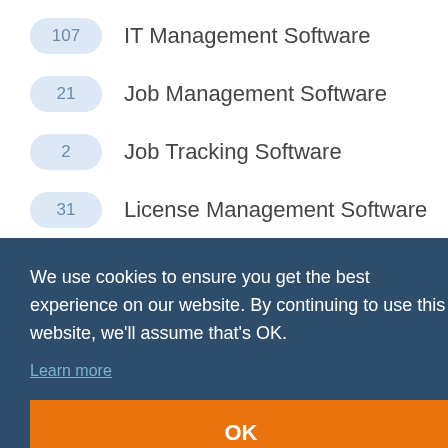107 IT Management Software
21 Job Management Software
2 Job Tracking Software
31 License Management Software
21 Mailroom Management
We use cookies to ensure you get the best experience on our website. By continuing to use this website, we'll assume that's OK.
Learn more
IM)
OK